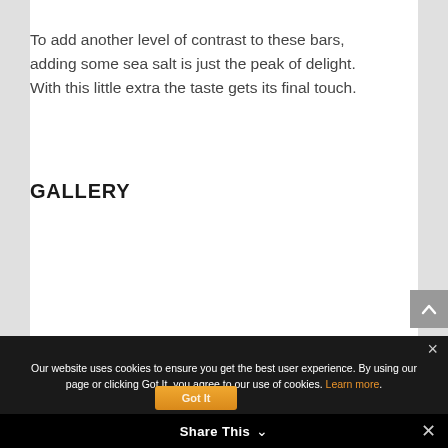To add another level of contrast to these bars, adding some sea salt is just the peak of delight. With this little extra the taste gets its final touch.
GALLERY
Our website uses cookies to ensure you get the best user experience. By using our page or clicking Got It, you agree to our use of cookies. Learn more.
Got It
Share This